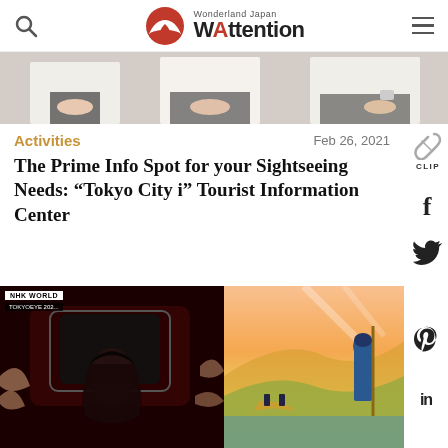Wonderland Japan WAttention
[Figure (photo): Top cropped photo showing people in white shirts with hands folded, standing side by side]
Activities   Feb 26, 2021
The Prime Info Spot for your Sightseeing Needs: “Tokyo City i” Tourist Information Center
[Figure (photo): Two-panel image: left panel shows NHK World horror-themed scene with a dark-haired figure and grasping hands; right panel shows an illustrated animation-style scene with a blue warrior figure near water with mountains]